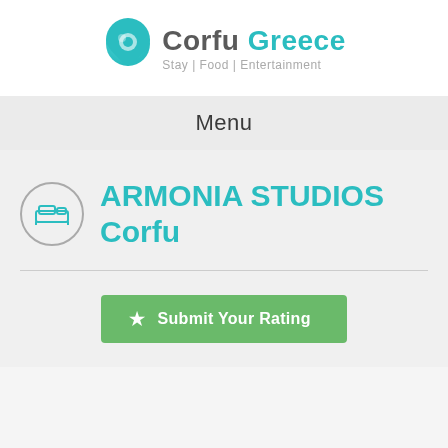[Figure (logo): Corfu Greece logo with teal map pin icon and text 'Corfu Greece' with tagline 'Stay | Food | Entertainment']
Menu
ARMONIA STUDIOS Corfu
[Figure (other): Green button with star icon: Submit Your Rating]